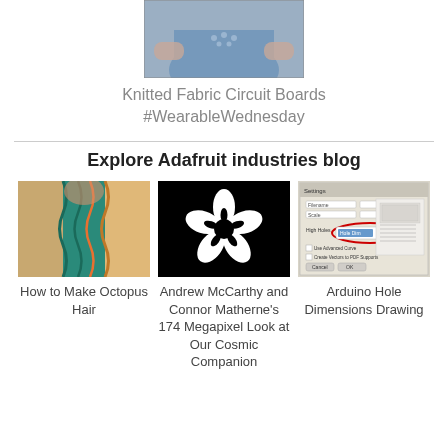[Figure (photo): Partial photo of a person wearing a blue top, cropped at top]
Knitted Fabric Circuit Boards #WearableWednesday
Explore Adafruit industries blog
[Figure (photo): Photo of colorful braided octopus-style hair in teal and orange]
How to Make Octopus Hair
[Figure (photo): Black and white image of a flower silhouette on black background]
Andrew McCarthy and Connor Matherne's 174 Megapixel Look at Our Cosmic Companion
[Figure (screenshot): Screenshot of a technical drawing application showing Arduino hole dimensions]
Arduino Hole Dimensions Drawing